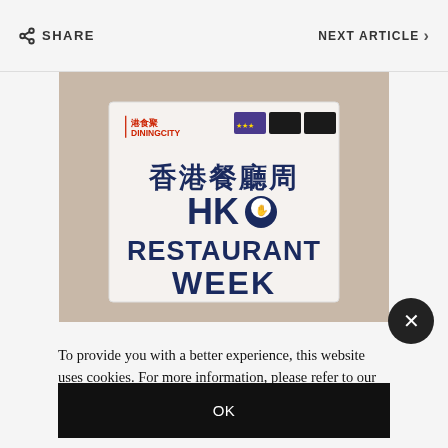SHARE | NEXT ARTICLE >
[Figure (illustration): HK Restaurant Week promotional banner showing 香港餐廳周 HK Restaurant Week text with DiningCity logo and credit card icons, with food image background]
To provide you with a better experience, this website uses cookies. For more information, please refer to our Privacy Policy
OK